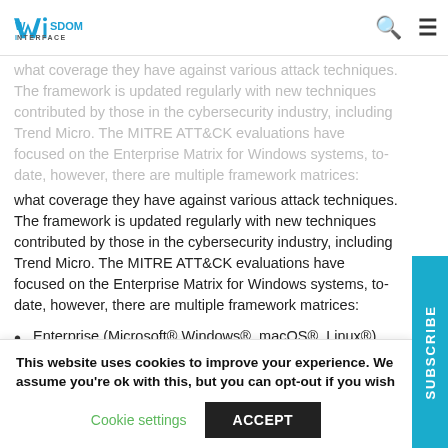Wisdom Interface — [search icon] [menu icon]
what coverage they have against various attack techniques. The framework is updated regularly with new techniques contributed by those in the cybersecurity industry, including Trend Micro. The MITRE ATT&CK evaluations have focused on the Enterprise Matrix for Windows systems, to-date, however, there are multiple framework matrices:
Enterprise (Microsoft® Windows®, macOS®, Linux®)
Cloud (Microsoft® 365®, AWS, Microsoft® Azure™, Google Cloud Platform™, Software as a Service (SaaS)
This website uses cookies to improve your experience. We assume you're ok with this, but you can opt-out if you wish
Cookie settings   ACCEPT